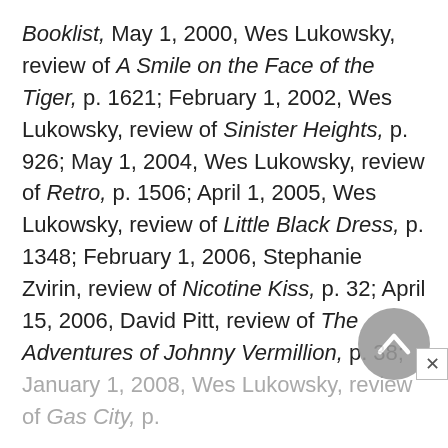Booklist, May 1, 2000, Wes Lukowsky, review of A Smile on the Face of the Tiger, p. 1621; February 1, 2002, Wes Lukowsky, review of Sinister Heights, p. 926; May 1, 2004, Wes Lukowsky, review of Retro, p. 1506; April 1, 2005, Wes Lukowsky, review of Little Black Dress, p. 1348; February 1, 2006, Stephanie Zvirin, review of Nicotine Kiss, p. 32; April 15, 2006, David Pitt, review of The Adventures of Johnny Vermillion, p. 38; January 1, 2008, Wes Lukowsky, review of Gas City, p.